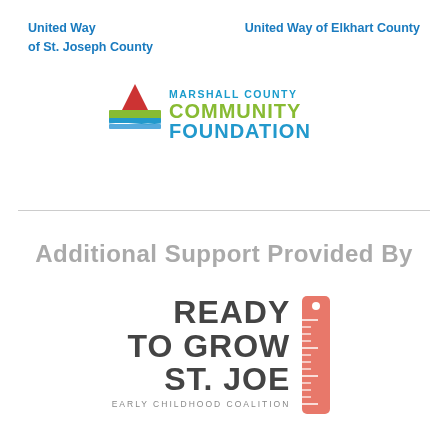[Figure (logo): United Way of St. Joseph County logo text in blue bold]
[Figure (logo): United Way of Elkhart County logo text in blue bold]
[Figure (logo): Marshall County Community Foundation logo with colorful icon showing landscape layers and text]
Additional Support Provided By
[Figure (logo): Ready To Grow St. Joe Early Childhood Coalition logo with ruler graphic in salmon/coral color]